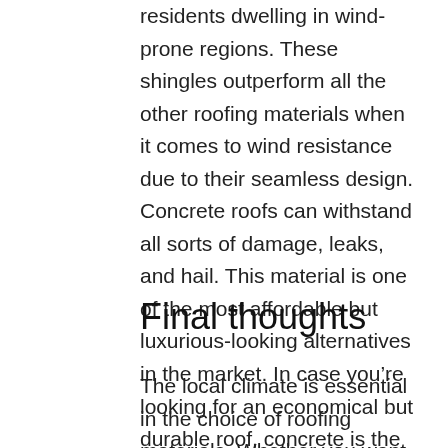residents dwelling in wind-prone regions. These shingles outperform all the other roofing materials when it comes to wind resistance due to their seamless design. Concrete roofs can withstand all sorts of damage, leaks, and hail. This material is one of the most affordable but luxurious-looking alternatives in the market. In case you’re looking for an economical but durable roof, concrete is the right choice.
Final thoughts
The local climate is essential in the choice of roofing materials. Whether you want a roof installation or a roof repair, be sure to contact professionals, such as Cincinnati roofers with years of experience